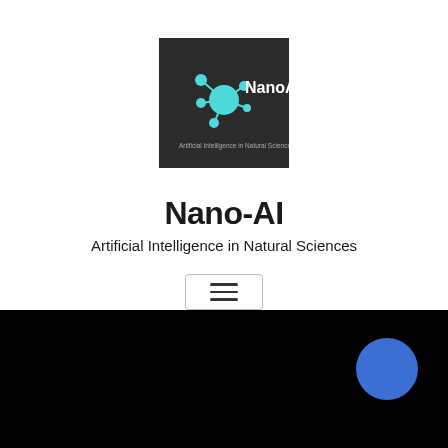[Figure (logo): NanoAI logo: dark background with a cyan network/atom icon and text 'NanoAI' and 'Artificial Intelligence in Natural Sciences']
Nano-AI
Artificial Intelligence in Natural Sciences
[Figure (other): Hamburger menu button with three horizontal lines inside a bordered box]
[Figure (other): Black background section with a blue circle in the bottom-right area]